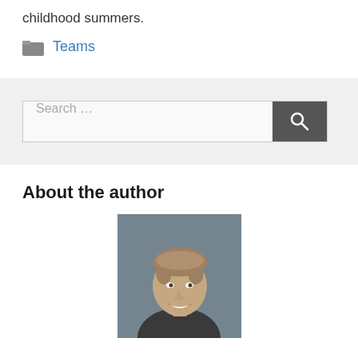childhood summers.
Teams
[Figure (screenshot): Search bar with text 'Search ...' and a dark grey search button with magnifying glass icon]
About the author
[Figure (photo): Headshot photo of a smiling person with short blonde/brown hair against a blurred background]